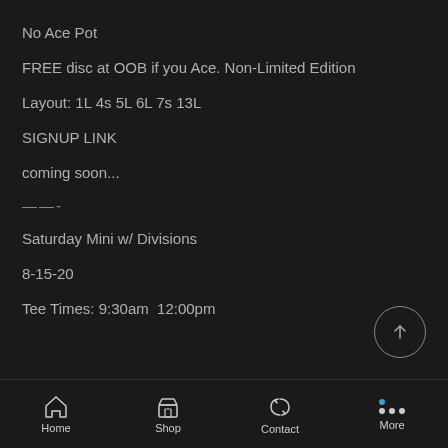No Ace Pot
FREE disc at OOB if you Ace. Non-Limited Edition
Layout: 1L 4s 5L 6L 7s 13L
SIGNUP LINK
coming soon...
——-
Saturday Mini w/ Divisions
8-15-20
Tee Times: 9:30am  12:00pm
Home  Shop  Contact  More